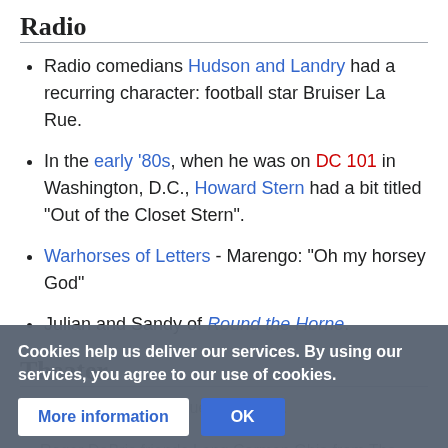Radio
Radio comedians Hudson and Landry had a recurring character: football star Bruiser La Rue.
In the early '80s, when he was on DC 101 in Washington, D.C., Howard Stern had a bit titled "Out of the Closet Stern".
Warhorses of Letters - Marengo: "Oh my horsey God"
Julian and Sandy of Round the Horne.
Theater
...something of his drag queen alter e... [partially obscured]
Roger DeBris friends Lang Carmen Ghia from The [partially obscured]
Cookies help us deliver our services. By using our services, you agree to our use of cookies.